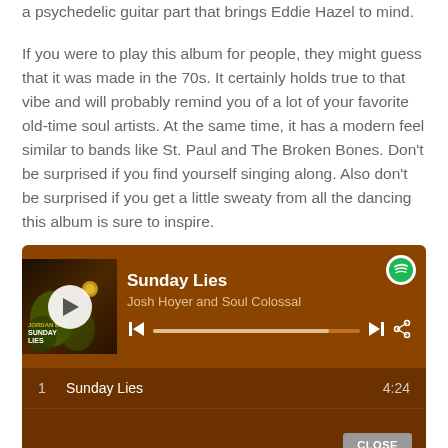a psychedelic guitar part that brings Eddie Hazel to mind.
If you were to play this album for people, they might guess that it was made in the 70s. It certainly holds true to that vibe and will probably remind you of a lot of your favorite old-time soul artists. At the same time, it has a modern feel similar to bands like St. Paul and The Broken Bones. Don't be surprised if you find yourself singing along. Also don't be surprised if you get a little sweaty from all the dancing this album is sure to inspire.
[Figure (screenshot): Spotify embedded music player widget showing 'Sunday Lies' by Josh Hoyer and Soul Colossal with album art, playback controls, progress bar, track listing showing track 1 'Sunday Lies' duration 4:24, and a CLOSE button. Brown/orange color scheme.]